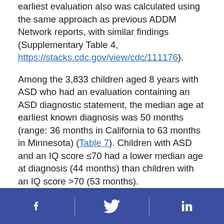earliest evaluation also was calculated using the same approach as previous ADDM Network reports, with similar findings (Supplementary Table 4, https://stacks.cdc.gov/view/cdc/111176).
Among the 3,833 children aged 8 years with ASD who had an evaluation containing an ASD diagnostic statement, the median age at earliest known diagnosis was 50 months (range: 36 months in California to 63 months in Minnesota) (Table 7). Children with ASD and an IQ score ≤70 had a lower median age at diagnosis (44 months) than children with an IQ score >70 (53 months).
Top
Discussion
Facebook | Twitter | LinkedIn